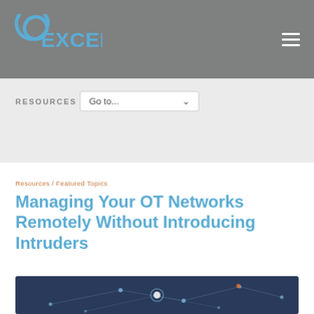EXCELNEX
RESOURCES
Go to...
Resources / Featured Topics
Managing Your OT Networks Remotely Without Introducing Intruders
[Figure (photo): Dark network visualization image showing interconnected nodes and lines against a blue/gray background]